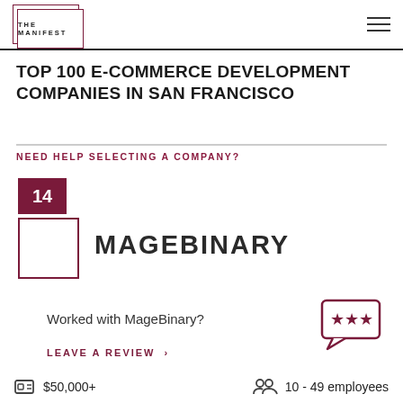THE MANIFEST
TOP 100 E-COMMERCE DEVELOPMENT COMPANIES IN SAN FRANCISCO
NEED HELP SELECTING A COMPANY?
[Figure (other): Rank badge showing number 14 in dark magenta/maroon square]
[Figure (logo): MageBinary company logo box (empty white square with maroon border)]
MAGEBINARY
Worked with MageBinary?
[Figure (other): Speech bubble icon with three stars, in maroon outline]
LEAVE A REVIEW >
$50,000+
10 - 49 employees